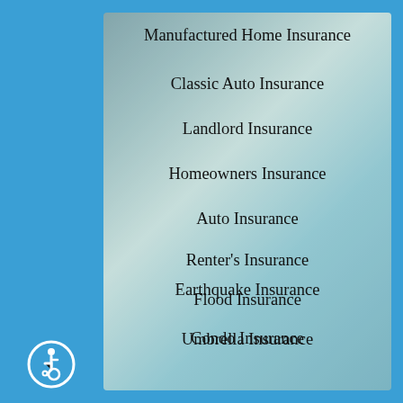[Figure (photo): Faded background photo of a person outdoors near a tree and house, with warm sunlight, overlaid with white/beige gradient.]
Manufactured Home Insurance
Classic Auto Insurance
Landlord Insurance
Homeowners Insurance
Auto Insurance
Renter's Insurance
Flood Insurance
Condo Insurance
Earthquake Insurance
Umbrella Insurance
[Figure (logo): Accessibility icon: blue circle with white wheelchair user symbol]